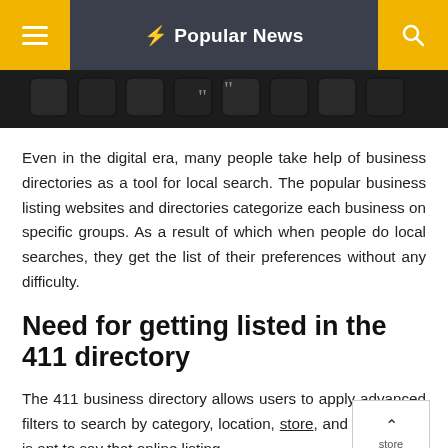Popular News
[Figure (photo): Dark close-up photo of keyboard keys]
Even in the digital era, many people take help of business directories as a tool for local search. The popular business listing websites and directories categorize each business on specific groups. As a result of which when people do local searches, they get the list of their preferences without any difficulty.
Need for getting listed in the 411 directory
The 411 business directory allows users to apply advanced filters to search by category, location, store, and services. It is apt to say that online listing